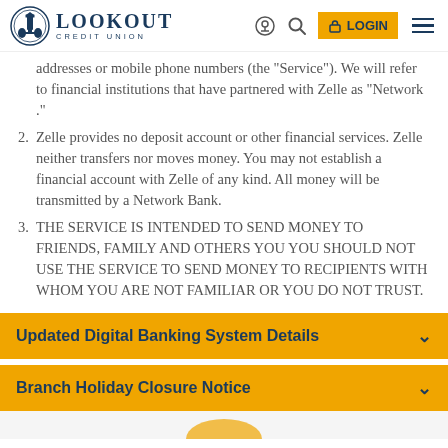Lookout Credit Union — navigation header with logo, search, location, login, and menu
addresses or mobile phone numbers (the "Service"). We will refer to financial institutions that have partnered with Zelle as "Network ."
2. Zelle provides no deposit account or other financial services. Zelle neither transfers nor moves money. You may not establish a financial account with Zelle of any kind. All money will be transmitted by a Network Bank.
3. THE SERVICE IS INTENDED TO SEND MONEY TO FRIENDS, FAMILY AND OTHERS YOU YOU SHOULD NOT USE THE SERVICE TO SEND MONEY TO RECIPIENTS WITH WHOM YOU ARE NOT FAMILIAR OR YOU DO NOT TRUST.
Updated Digital Banking System Details
Branch Holiday Closure Notice